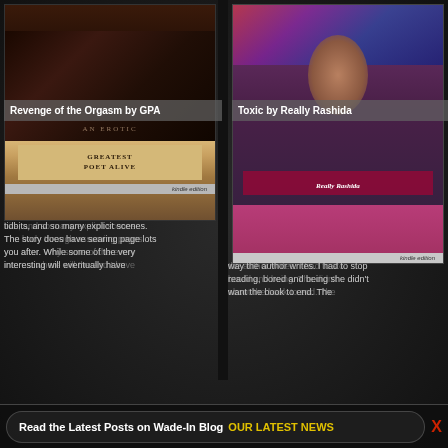[Figure (photo): Book cover for 'Revenge of the Orgasm by GPA' — an erotic book with kindle edition label, dark cover with ornate text reading 'Greatest Poet Alive']
Revenge of the Orgasm by GPA
tidbits, and so many explicit scenes. The story does have searing topics you after. While some of the very interesting will eventually have
[Figure (photo): Book cover for 'Toxic by Really Rashida' — shows a woman with colorful hair and the name 'Really Rashida' on the cover, kindle edition label]
Toxic by Really Rashida
way the author writes. I had to stop reading, bored and being she didn't want the book to end. The
Read the Latest Posts on Wade-In Blog OUR LATEST NEWS